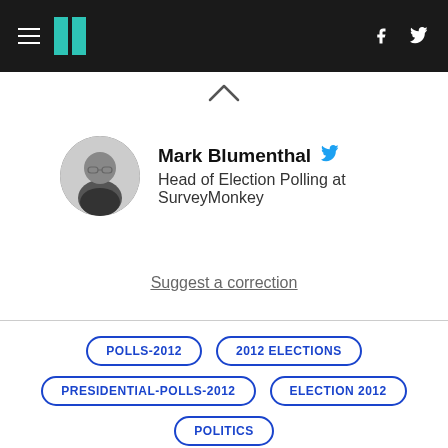HuffPost header with hamburger menu, logo, facebook and twitter icons
[Figure (illustration): Chevron/caret up arrow]
Mark Blumenthal - Head of Election Polling at SurveyMonkey
Suggest a correction
POLLS-2012
2012 ELECTIONS
PRESIDENTIAL-POLLS-2012
ELECTION 2012
POLITICS